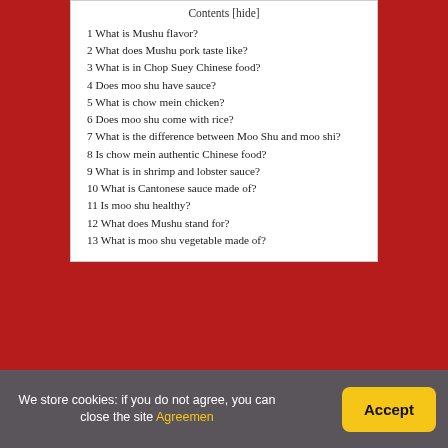Contents [hide]
1 What is Mushu flavor?
2 What does Mushu pork taste like?
3 What is in Chop Suey Chinese food?
4 Does moo shu have sauce?
5 What is chow mein chicken?
6 Does moo shu come with rice?
7 What is the difference between Moo Shu and moo shi?
8 Is chow mein authentic Chinese food?
9 What is in shrimp and lobster sauce?
10 What is Cantonese sauce made of?
11 Is moo shu healthy?
12 What does Mushu stand for?
13 What is moo shu vegetable made of?
What is Mushu...
We store cookies: if you do not agree, you can close the site Agreemen
Accept